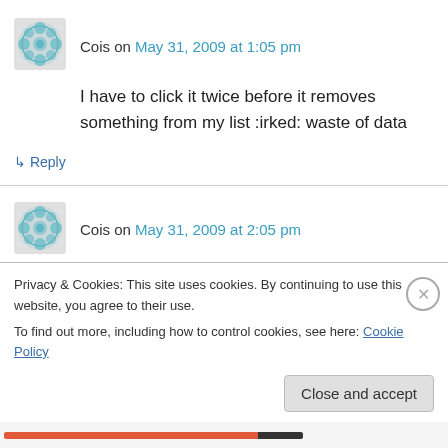Cois on May 31, 2009 at 1:05 pm
I have to click it twice before it removes something from my list :irked: waste of data
↳ Reply
Cois on May 31, 2009 at 2:05 pm
Comments are no problem.. Photo comments stay though :irked:
Privacy & Cookies: This site uses cookies. By continuing to use this website, you agree to their use.
To find out more, including how to control cookies, see here: Cookie Policy
Close and accept